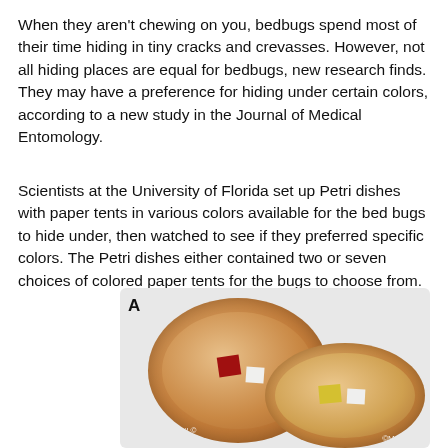When they aren't chewing on you, bedbugs spend most of their time hiding in tiny cracks and crevasses. However, not all hiding places are equal for bedbugs, new research finds. They may have a preference for hiding under certain colors, according to a new study in the Journal of Medical Entomology.
Scientists at the University of Florida set up Petri dishes with paper tents in various colors available for the bed bugs to hide under, then watched to see if they preferred specific colors. The Petri dishes either contained two or seven choices of colored paper tents for the bugs to choose from.
[Figure (photo): Two Petri dishes containing small colored paper tents for bed bugs. Top dish (labeled A) has a red and a white tent. Bottom dish has a yellow and a white tent. Both dishes are round, tan/amber colored. Watermark reads CMcNeil.]